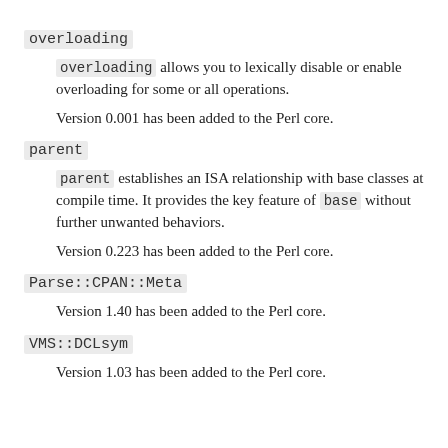overloading
overloading allows you to lexically disable or enable overloading for some or all operations.
Version 0.001 has been added to the Perl core.
parent
parent establishes an ISA relationship with base classes at compile time. It provides the key feature of base without further unwanted behaviors.
Version 0.223 has been added to the Perl core.
Parse::CPAN::Meta
Version 1.40 has been added to the Perl core.
VMS::DCLsym
Version 1.03 has been added to the Perl core.